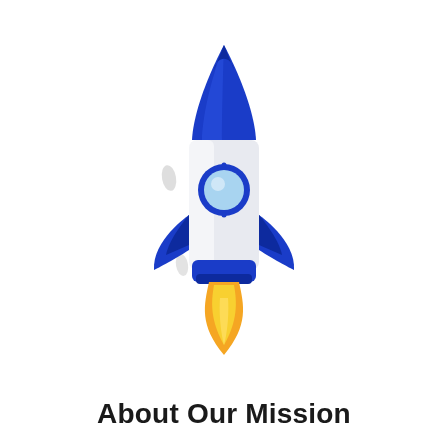[Figure (illustration): A flat-design illustration of a rocket launching upward. The rocket has a white/light-grey body with a blue nose cone, blue fins, a blue engine base, a circular blue-rimmed porthole window with light blue fill, and orange/yellow flames shooting downward from the nozzle. Motion streaks (small grey oval shapes) appear to the left and below the rocket.]
About Our Mission